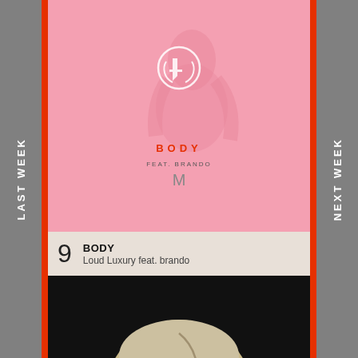LAST WEEK
NEXT WEEK
[Figure (illustration): Pink album cover for BODY by Loud Luxury feat. brando with a figure and touch cursor icon]
9  BODY
Loud Luxury feat. brando
[Figure (photo): Black and white photo of back of blonde person's head - Troye Sivan Lucky Strike album art, with NEW badge in bottom right corner]
10  LUCKY STRIKE
Troye Sivan
[Figure (photo): Black and white photo of back of blonde person's head - Troye Sivan]